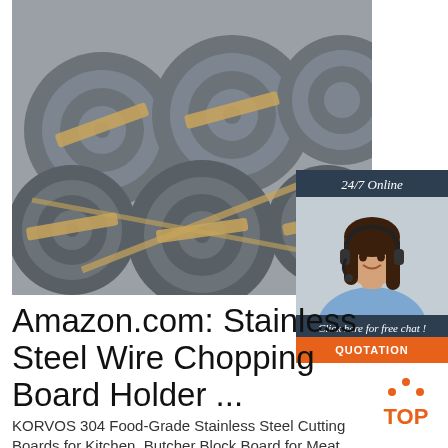[Figure (photo): Stacked coils of stainless steel wire rod bundled with tape, stored in a warehouse or factory setting]
[Figure (infographic): 24/7 Online chat widget with a female customer service agent wearing a headset, and a button labeled QUOTATION]
Amazon.com: Stainless Steel Wire Chopping Board Holder ...
[Figure (logo): TOP icon with orange dots above the letters]
KORVOS 304 Food-Grade Stainless Steel Cutting Boards for Kitchen, Butcher Block Board for Meat,